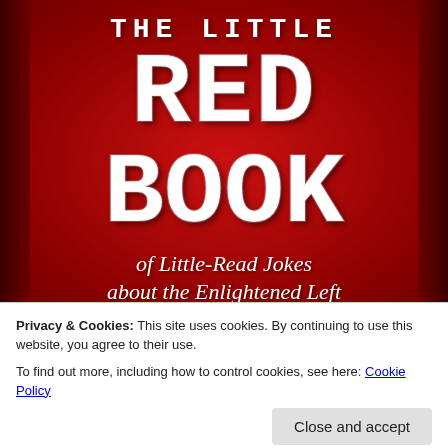[Figure (illustration): Book cover on red background with white distressed font text: 'THE LITTLE RED BOOK of Little-Read Jokes about the Enlightened Left']
Privacy & Cookies: This site uses cookies. By continuing to use this website, you agree to their use.
To find out more, including how to control cookies, see here: Cookie Policy